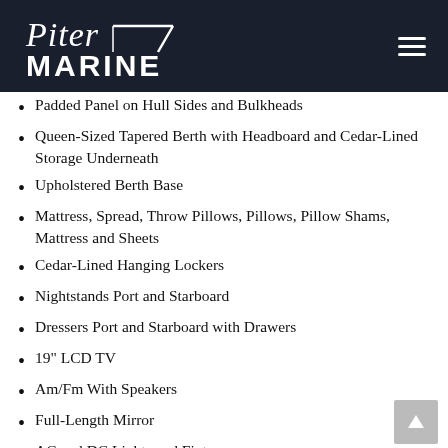Piter Marine
Padded Panel on Hull Sides and Bulkheads
Queen-Sized Tapered Berth with Headboard and Cedar-Lined Storage Underneath
Upholstered Berth Base
Mattress, Spread, Throw Pillows, Pillows, Pillow Shams, Mattress and Sheets
Cedar-Lined Hanging Lockers
Nightstands Port and Starboard
Dressers Port and Starboard with Drawers
19" LCD TV
Am/Fm With Speakers
Full-Length Mirror
AC and DC Lights and Fixtures
AC Dimmable Lights
Carpeting
AC Low Voltage Lights Under Berth